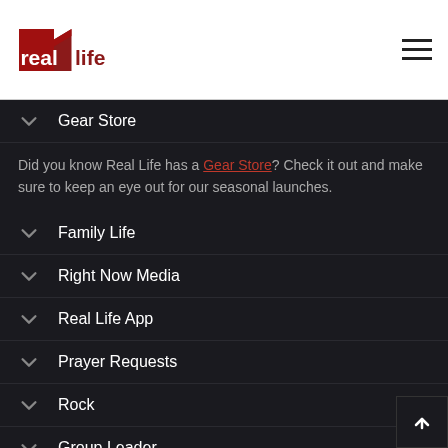real life logo and navigation
Gear Store
Did you know Real Life has a Gear Store? Check it out and make sure to keep an eye out for our seasonal launches.
Family Life
Right Now Media
Real Life App
Prayer Requests
Rock
Group Leader
Business Directory
Careers